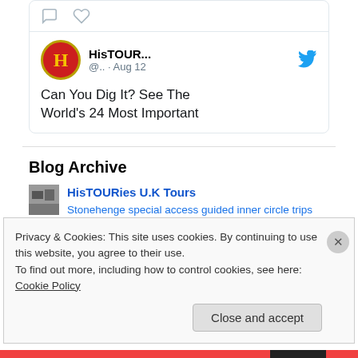[Figure (screenshot): Tweet card showing chat bubble and heart icons at top, then HisTOUR... account with red H logo avatar, @.. · Aug 12, Twitter bird icon, and tweet text beginning 'Can You Dig It? See The World's 24 Most Important']
Can You Dig It? See The World's 24 Most Important
Blog Archive
[Figure (photo): Small thumbnail image for HisTOURies blog entry]
HisTOURies U.K Tours
Stonehenge special access guided inner circle trips from London, Bath or Salisbury. Experience Stonehenge at dawn or dusk with a
Privacy & Cookies: This site uses cookies. By continuing to use this website, you agree to their use.
To find out more, including how to control cookies, see here: Cookie Policy